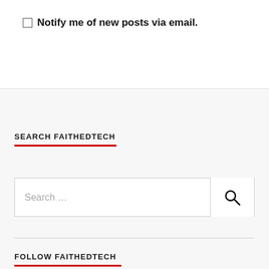Notify me of new posts via email.
SEARCH FAITHEDTECH
Search ...
FOLLOW FAITHEDTECH